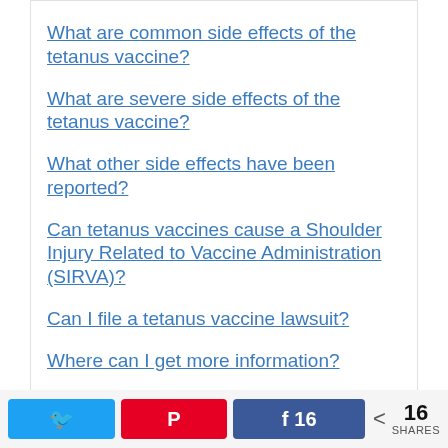What are common side effects of the tetanus vaccine?
What are severe side effects of the tetanus vaccine?
What other side effects have been reported?
Can tetanus vaccines cause a Shoulder Injury Related to Vaccine Administration (SIRVA)?
Can I file a tetanus vaccine lawsuit?
Where can I get more information?
What are tetanus vaccine names?
Daptacel® (DTaP)
Infanrix® (DTaP)
Twitter  Pinterest  Facebook 16  < 16 SHARES